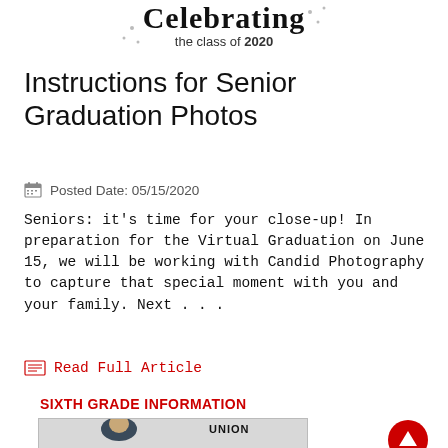[Figure (logo): Cursive script logo reading 'Celebrating the class of 2020']
Instructions for Senior Graduation Photos
Posted Date: 05/15/2020
Seniors: it's time for your close-up! In preparation for the Virtual Graduation on June 15, we will be working with Candid Photography to capture that special moment with you and your family. Next . . .
Read Full Article
SIXTH GRADE INFORMATION
[Figure (photo): Man in dark polo shirt standing in front of white brick wall next to Union Bands logo]